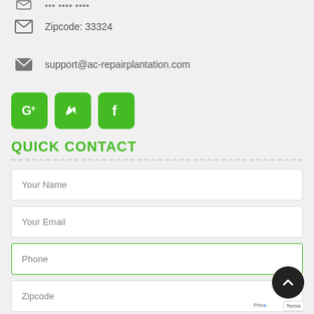Zipcode: 33324
support@ac-repairplantation.com
[Figure (other): Three green social media buttons: Google+, Twitter, Facebook]
QUICK CONTACT
Your Name
Your Email
Phone
Zipcode
Message